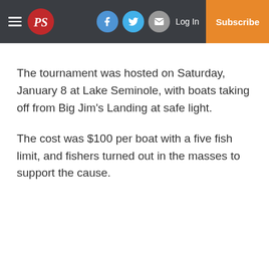PS [logo] | Facebook | Twitter | Email | Log In | Subscribe
The tournament was hosted on Saturday, January 8 at Lake Seminole, with boats taking off from Big Jim's Landing at safe light.
The cost was $100 per boat with a five fish limit, and fishers turned out in the masses to support the cause.